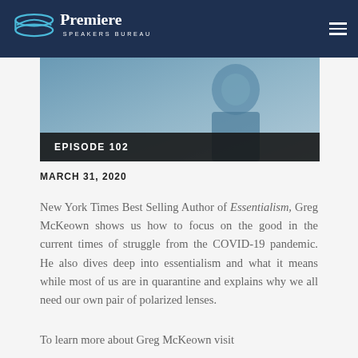Premiere Speakers Bureau
[Figure (photo): Header photo showing a smiling person in a dark blazer against a blue-tinted background, with 'EPISODE 102' overlaid in a dark banner at the bottom]
MARCH 31, 2020
New York Times Best Selling Author of Essentialism, Greg McKeown shows us how to focus on the good in the current times of struggle from the COVID-19 pandemic. He also dives deep into essentialism and what it means while most of us are in quarantine and explains why we all need our own pair of polarized lenses.
To learn more about Greg McKeown visit